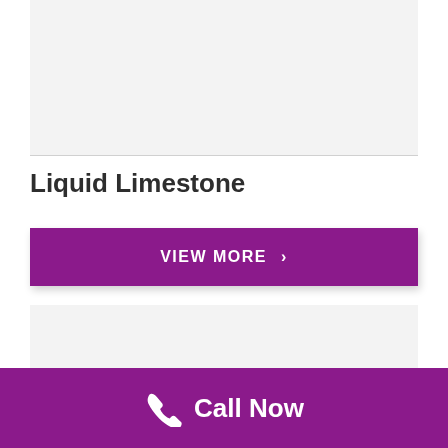[Figure (photo): Top image placeholder block with light gray background]
Liquid Limestone
VIEW MORE ›
[Figure (photo): Bottom image placeholder block with light gray background]
Call Now